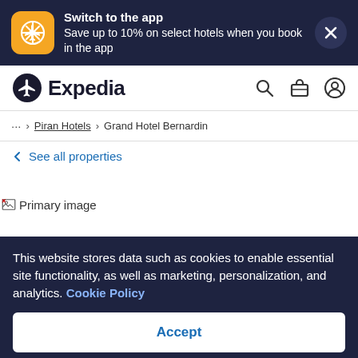[Figure (screenshot): Expedia app promotion banner with app icon, text about saving up to 10% on select hotels, and a close button]
[Figure (logo): Expedia logo with navigation icons for search, trips, and account]
... > Piran Hotels > Grand Hotel Bernardin
← See all properties
[Figure (photo): Primary image placeholder (broken image icon)]
This website stores data such as cookies to enable essential site functionality, as well as marketing, personalization, and analytics. Cookie Policy
Accept
Deny